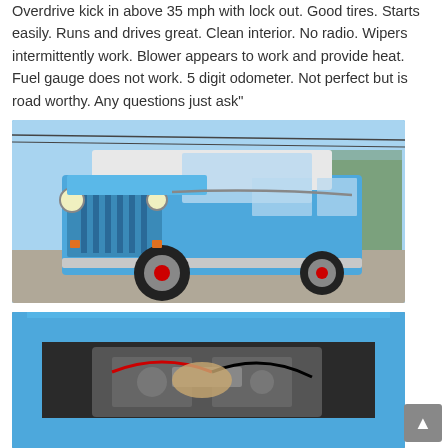Overdrive kick in above 35 mph with lock out. Good tires. Starts easily. Runs and drives great. Clean interior. No radio. Wipers intermittently work. Blower appears to work and provide heat. Fuel gauge does not work. 5 digit odometer. Not perfect but is road worthy. Any questions just ask"
[Figure (photo): Front 3/4 view of a classic blue Willys Wagon SUV parked on gravel, showing the distinctive vertical grille, round headlights, and boxy body with large windows. Trees visible in background.]
[Figure (photo): Top-down view into the engine bay of the same blue Willys Wagon, showing the engine components and blue painted interior roof/pillars.]